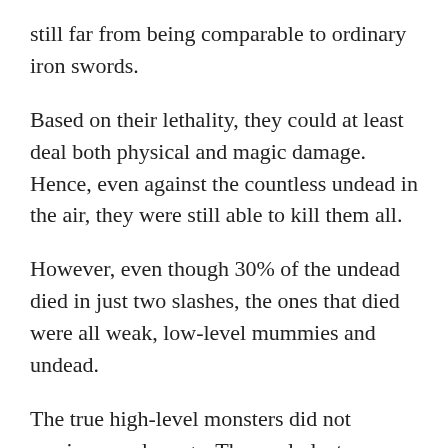still far from being comparable to ordinary iron swords.
Based on their lethality, they could at least deal both physical and magic damage. Hence, even against the countless undead in the air, they were still able to kill them all.
However, even though 30% of the undead died in just two slashes, the ones that died were all weak, low-level mummies and undead.
The true high-level monsters did not receive any damage. They only lost some of their HP.
As time passed, the pressure on the undead became more and more intense. Almost every warrior had to deal with monsters that were 10 or even 20 times more powerful than them.